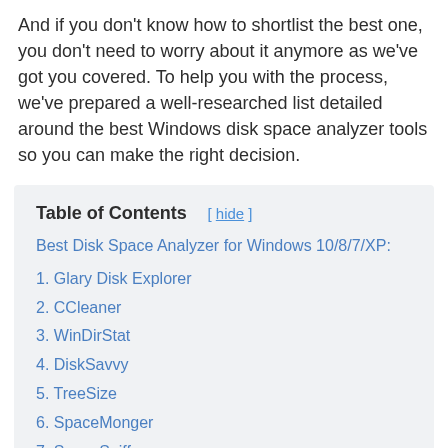And if you don't know how to shortlist the best one, you don't need to worry about it anymore as we've got you covered. To help you with the process, we've prepared a well-researched list detailed around the best Windows disk space analyzer tools so you can make the right decision.
| Table of Contents | [ hide ] |
| Best Disk Space Analyzer for Windows 10/8/7/XP: |  |
| 1. Glary Disk Explorer |  |
| 2. CCleaner |  |
| 3. WinDirStat |  |
| 4. DiskSavvy |  |
| 5. TreeSize |  |
| 6. SpaceMonger |  |
| 7. SpaceSniffer |  |
| 8. JDiskReport |  |